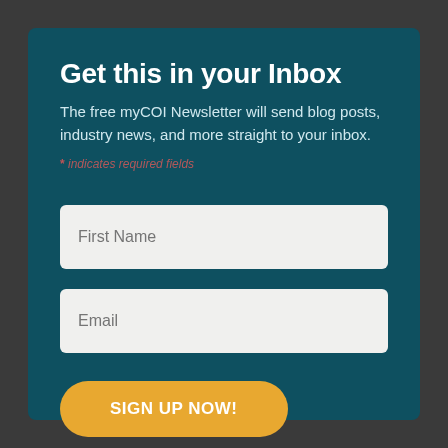Get this in your Inbox
The free myCOI Newsletter will send blog posts, industry news, and more straight to your inbox.
* indicates required fields
First Name
Email
SIGN UP NOW!